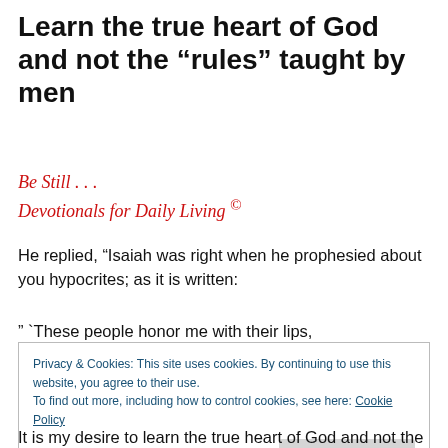Learn the true heart of God and not the “rules” taught by men
Be Still . . .
Devotionals for Daily Living ©
He replied, “Isaiah was right when he prophesied about you hypocrites; as it is written:
” `These people honor me with their lips,
Privacy & Cookies: This site uses cookies. By continuing to use this website, you agree to their use.
To find out more, including how to control cookies, see here: Cookie Policy
Close and accept
It is my desire to learn the true heart of God and not the